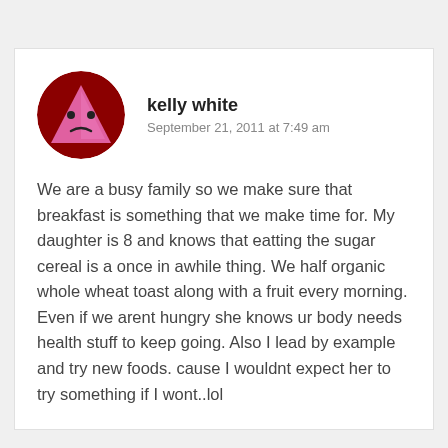[Figure (illustration): Circular avatar image with dark red background and a pink triangle character with a sad face]
kelly white
September 21, 2011 at 7:49 am
We are a busy family so we make sure that breakfast is something that we make time for. My daughter is 8 and knows that eatting the sugar cereal is a once in awhile thing. We half organic whole wheat toast along with a fruit every morning. Even if we arent hungry she knows ur body needs health stuff to keep going. Also I lead by example and try new foods. cause I wouldnt expect her to try something if I wont..lol